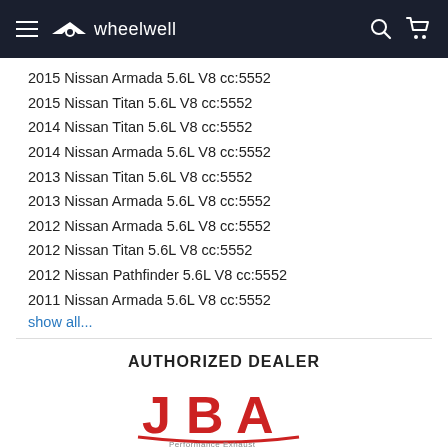wheelwell
2015 Nissan Armada 5.6L V8 cc:5552
2015 Nissan Titan 5.6L V8 cc:5552
2014 Nissan Titan 5.6L V8 cc:5552
2014 Nissan Armada 5.6L V8 cc:5552
2013 Nissan Titan 5.6L V8 cc:5552
2013 Nissan Armada 5.6L V8 cc:5552
2012 Nissan Armada 5.6L V8 cc:5552
2012 Nissan Titan 5.6L V8 cc:5552
2012 Nissan Pathfinder 5.6L V8 cc:5552
2011 Nissan Armada 5.6L V8 cc:5552
show all...
AUTHORIZED DEALER
[Figure (logo): JBA Performance Exhaust logo in red]